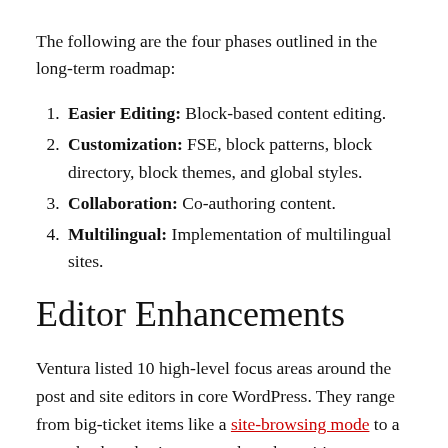The following are the four phases outlined in the long-term roadmap:
Easier Editing: Block-based content editing.
Customization: FSE, block patterns, block directory, block themes, and global styles.
Collaboration: Co-authoring content.
Multilingual: Implementation of multilingual sites.
Editor Enhancements
Ventura listed 10 high-level focus areas around the post and site editors in core WordPress. They range from big-ticket items like a site-browsing mode to a more back-to-basics approach to the writing